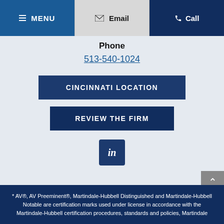MENU  Email  Call
Phone
513-540-1024
CINCINNATI LOCATION
REVIEW THE FIRM
[Figure (logo): LinkedIn icon button - white 'in' text on dark navy square]
* AV®, AV Preeminent®, Martindale-Hubbell Distinguished and Martindale-Hubbell Notable are certification marks used under license in accordance with the Martindale-Hubbell certification procedures, standards and policies, Martindale